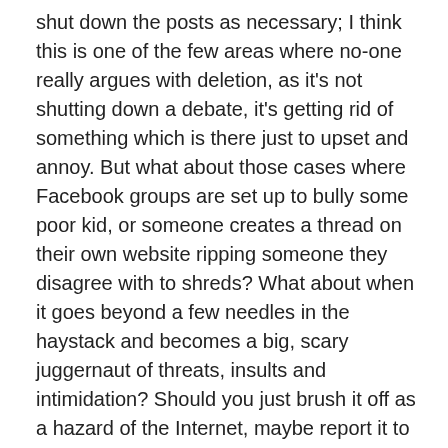shut down the posts as necessary; I think this is one of the few areas where no-one really argues with deletion, as it's not shutting down a debate, it's getting rid of something which is there just to upset and annoy. But what about those cases where Facebook groups are set up to bully some poor kid, or someone creates a thread on their own website ripping someone they disagree with to shreds? What about when it goes beyond a few needles in the haystack and becomes a big, scary juggernaut of threats, insults and intimidation? Should you just brush it off as a hazard of the Internet, maybe report it to the mods / hosts / site owners and keep quiet in case the bullies realise they're getting to you? But that provides the bullies an outlet without also giving the victim a voice. It doesn't seem fair.